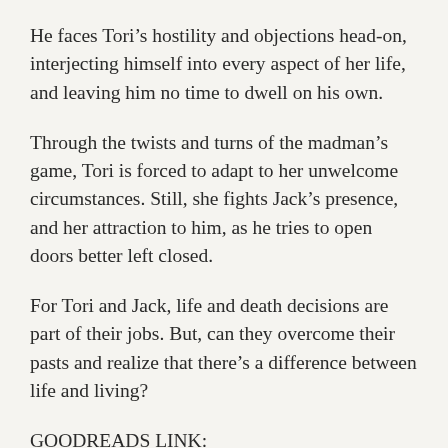He faces Tori’s hostility and objections head-on, interjecting himself into every aspect of her life, and leaving him no time to dwell on his own.
Through the twists and turns of the madman’s game, Tori is forced to adapt to her unwelcome circumstances. Still, she fights Jack’s presence, and her attraction to him, as he tries to open doors better left closed.
For Tori and Jack, life and death decisions are part of their jobs. But, can they overcome their pasts and realize that there’s a difference between life and living?
GOODREADS LINK:
https://www.goodreads.com/book/show/295380